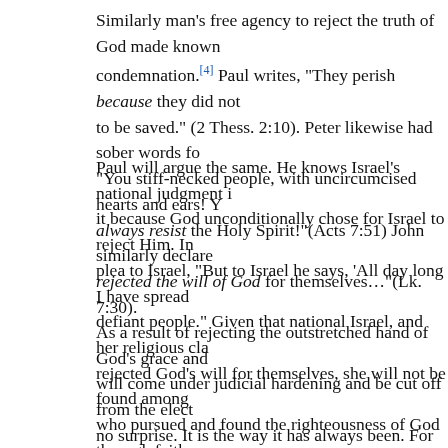Similarly man's free agency to reject the truth of God made known to him results in his condemnation.[4] Paul writes, "They perish because they did not love the truth and so be saved." (2 Thess. 2:10). Peter likewise had sober words for Israel: "You stiff-necked people, with uncircumcised hearts and ears! You are just like your fathers: you always resist the Holy Spirit!"(Acts 7:51) John similarly declares, "…the Pharisees and experts in the law rejected the will of God for themselves…"(Lk. 7:30).
Paul will argue the same. He knows Israel's national judgment is real but does not attribute it because God unconditionally chose for Israel to reject Him. In Romans 10:21 Paul cites God's plea to Israel, "But to Israel he says, 'All day long I have spread out my hands to a disobedient and defiant people." Given that national Israel, and her religious class in particular, willfully rejected God's will for themselves, she will not be found among the Gentiles and Jewish remnant who pursued and found the righteousness of God through faith.
As a result of rejecting the outstretched hand of God's grace and mercy, national Israel will come under judicial hardening and be cut off from the elect community. This should be no surprise. It is the way it has always been. For when disobedience became rampant in the O.T., the elect community of faith often shrank to a remnant